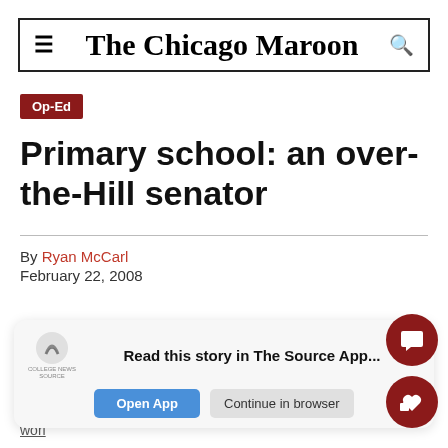The Chicago Maroon
Op-Ed
Primary school: an over-the-Hill senator
By Ryan McCarl
February 22, 2008
Read this story in The Source App...
After winning the "Democrats Abroad" primary on Thursday, Barack Obama can truly be considered a world... story...